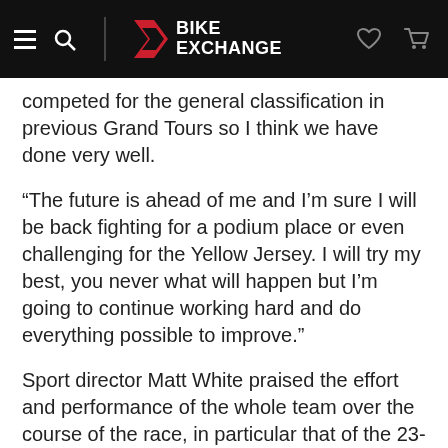BikeExchange navigation header
competed for the general classification in previous Grand Tours so I think we have done very well.
“The future is ahead of me and I’m sure I will be back fighting for a podium place or even challenging for the Yellow Jersey. I will try my best, you never what will happen but I’m going to continue working hard and do everything possible to improve.”
Sport director Matt White praised the effort and performance of the whole team over the course of the race, in particular that of the 23-year old Yates.
“This has been a very gratifying Tour de France for us,” said White. “We came here with ambitions to win a stage, that was our main objective so in that respect the first few were days key for us.”